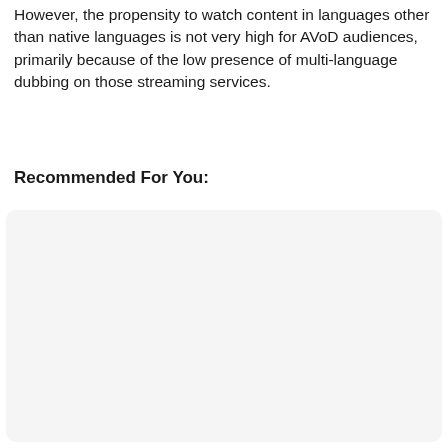However, the propensity to watch content in languages other than native languages is not very high for AVoD audiences, primarily because of the low presence of multi-language dubbing on those streaming services.
Recommended For You:
[Figure (other): A large light gray rounded rectangle placeholder box, likely for recommended content cards.]